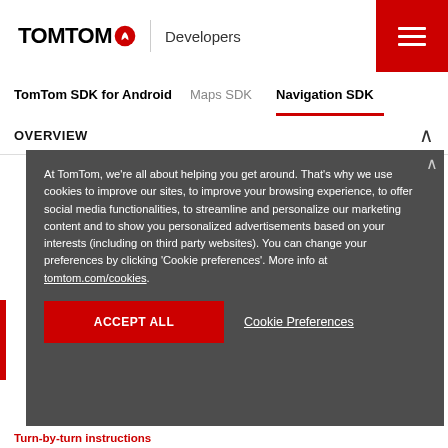TomTom Developers
TomTom SDK for Android   Maps SDK   Navigation SDK
OVERVIEW
At TomTom, we're all about helping you get around. That's why we use cookies to improve our sites, to improve your browsing experience, to offer social media functionalities, to streamline and personalize our marketing content and to show you personalized advertisements based on your interests (including on third party websites). You can change your preferences by clicking 'Cookie preferences'. More info at tomtom.com/cookies.
ACCEPT ALL   Cookie Preferences
Turn-by-turn instructions